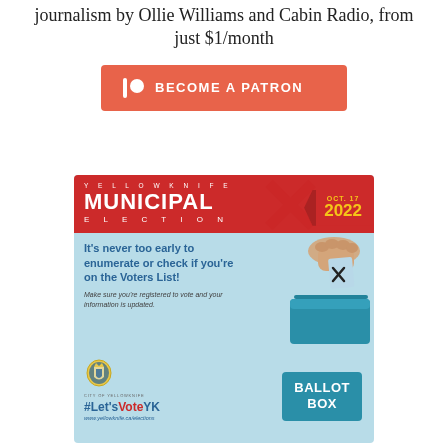journalism by Ollie Williams and Cabin Radio, from just $1/month
[Figure (infographic): Patreon 'Become a Patron' button with salmon/orange background, Patreon icon and bold white text]
[Figure (infographic): Yellowknife Municipal Election advertisement for Oct. 17 2022. Light blue background with red header banner reading YELLOWKNIFE MUNICIPAL ELECTION with date badge showing OCT. 17 / 2022. Body text: It's never too early to enumerate or check if you're on the Voters List! Make sure you're registered to vote and your information is updated. City of Yellowknife crest logo. #Let'sVoteYK. www.yellowknife.ca/elections. Illustration of hand dropping ballot into BALLOT BOX.]